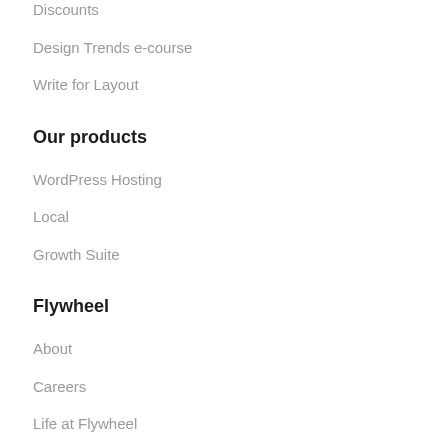Discounts
Design Trends e-course
Write for Layout
Our products
WordPress Hosting
Local
Growth Suite
Flywheel
About
Careers
Life at Flywheel
Product Updates